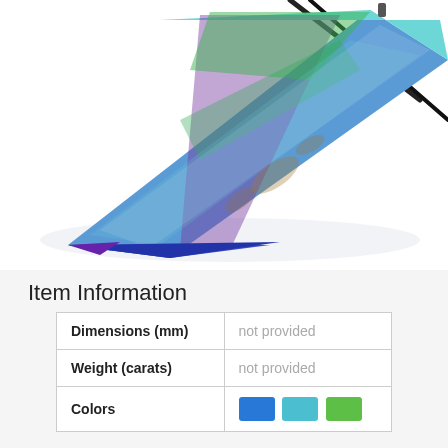[Figure (photo): A triangular fused glass pendant with blue, teal, green, and purple colors, hanging on a black cord, photographed at an angle on a white background.]
Item Information
| Dimensions (mm) | not provided |
| Weight (carats) | not provided |
| Colors | [blue swatch] [teal swatch] [green swatch] |